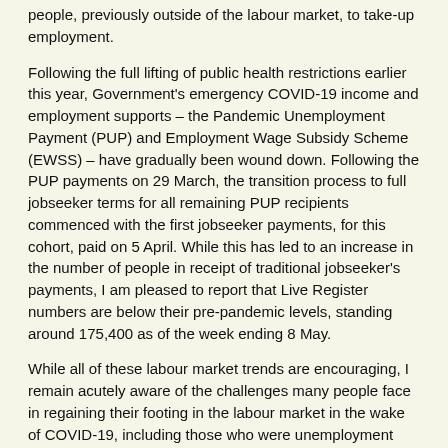people, previously outside of the labour market, to take-up employment.
Following the full lifting of public health restrictions earlier this year, Government's emergency COVID-19 income and employment supports – the Pandemic Unemployment Payment (PUP) and Employment Wage Subsidy Scheme (EWSS) – have gradually been wound down. Following the PUP payments on 29 March, the transition process to full jobseeker terms for all remaining PUP recipients commenced with the first jobseeker payments, for this cohort, paid on 5 April. While this has led to an increase in the number of people in receipt of traditional jobseeker's payments, I am pleased to report that Live Register numbers are below their pre-pandemic levels, standing around 175,400 as of the week ending 8 May.
While all of these labour market trends are encouraging, I remain acutely aware of the challenges many people face in regaining their footing in the labour market in the wake of COVID-19, including those who were unemployment prior to the pandemic. As such, through the Pathways to Work strategy 2021 – 2025, my Department is actively working to assist all those unemployed find, secure and sustain quality employment so as to ensure that no one is left behind during our economic recovery. In doing so, we can further improve labour market outcomes for all in the aftermath of COVID-19.
In this regard, recent labour market projections from the Department of Finance's Stability Programme Update published in April project further